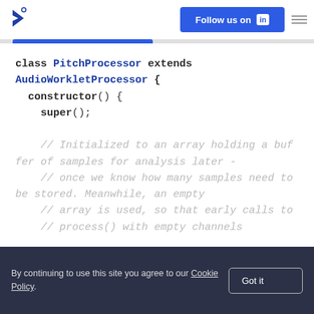[Figure (logo): TopTal logo arrow icon in blue]
Follow us on LinkedIn
class PitchProcessor extends AudioWorkletProcessor {
  constructor() {
    super();

    // Initialized to an array holding a buffer of samples for analysis later -
    // once we know how many samples need to be stored. Meanwhile, an empty
    // array is used, so that early calls to
    // process() with empty channels
By continuing to use this site you agree to our Cookie Policy.
Got it